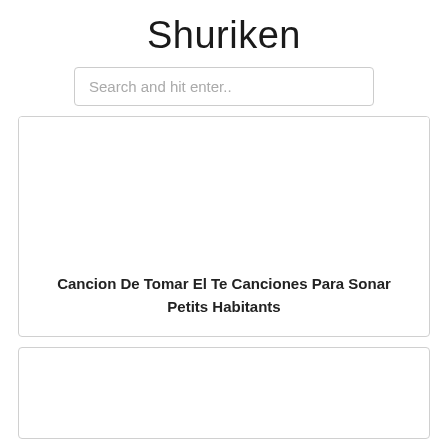Shuriken
Search and hit enter..
[Figure (other): Blank white card image area]
Cancion De Tomar El Te Canciones Para Sonar Petits Habitants
[Figure (other): Blank white card image area (second card, partially visible)]